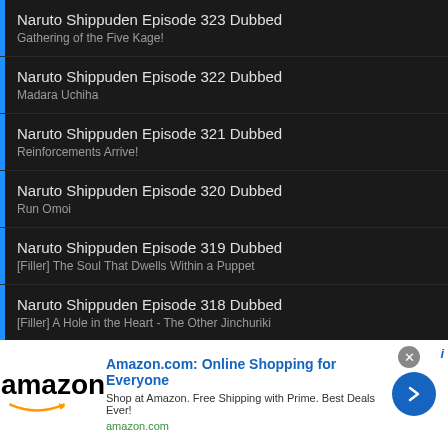Naruto Shippuden Episode 323 Dubbed
Gathering of the Five Kage!
Naruto Shippuden Episode 322 Dubbed
Madara Uchiha
Naruto Shippuden Episode 321 Dubbed
Reinforcements Arrive!
Naruto Shippuden Episode 320 Dubbed
Run Omoi
Naruto Shippuden Episode 319 Dubbed
[Filler] The Soul That Dwells Within a Puppet
Naruto Shippuden Episode 318 Dubbed
[Filler] A Hole in the Heart - The Other Jinchuriki
[Figure (screenshot): Amazon advertisement banner: 'Amazon.com: Online Shopping for Everyone', 'Shop at Amazon. Free Shipping with Prime. Best Deals Ever!', amazon.com, with Amazon logo and blue arrow button]